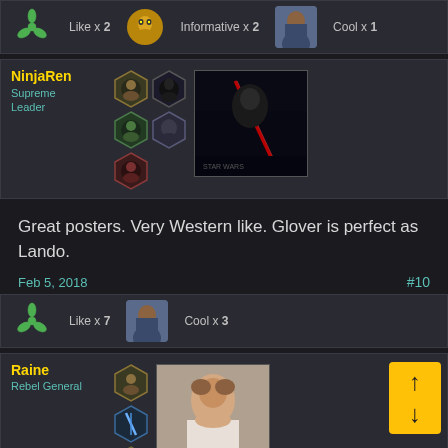[Figure (screenshot): Reaction bar showing Like x 2 with Rebel Alliance icon, Informative x 2 with C-3PO icon, Cool x 1 with Lando avatar]
[Figure (screenshot): User post card for NinjaRen, Supreme Leader, with hexagon badges and Star Wars: The Last Jedi image]
Great posters. Very Western like. Glover is perfect as Lando.
Feb 5, 2018
#10
[Figure (screenshot): Reaction bar showing Like x 7 with Rebel Alliance icon, Cool x 3 with Lando avatar]
[Figure (screenshot): User post card for Raine, Rebel General, with hexagon badges and Princess Leia avatar, with up/down navigation buttons]
Looking good all around this morning!